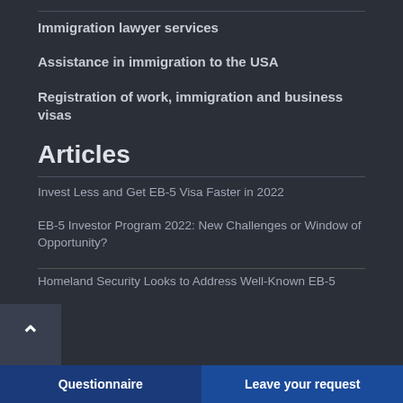Immigration lawyer services
Assistance in immigration to the USA
Registration of work, immigration and business visas
Articles
Invest Less and Get EB-5 Visa Faster in 2022
EB-5 Investor Program 2022: New Challenges or Window of Opportunity?
Homeland Security Looks to Address Well-Known EB-5…
Questionnaire | Leave your request